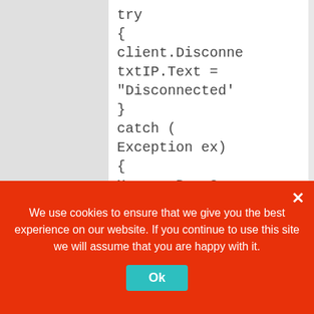try
{
client.Disconne
txtIP.Text =
"Disconnected'
}
catch (
Exception ex)
{
MessageBox.S
ex.Message,
"Information",
MessageBoxBt
MessageBoxIc
}
}

private void
chkbx0_Checke
sender
We use cookies to ensure that we give you the best experience on our website. If you continue to use this site we will assume that you are happy with it.